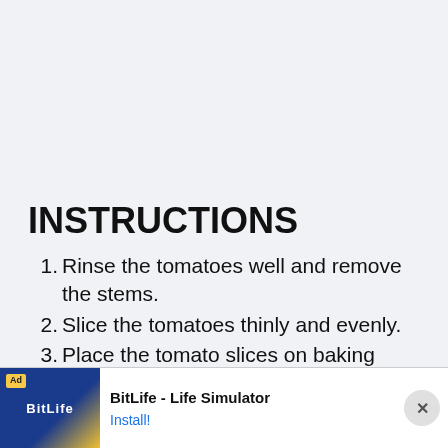INSTRUCTIONS
Rinse the tomatoes well and remove the stems.
Slice the tomatoes thinly and evenly.
Place the tomato slices on baking sheets or dehydrator trays, spreading the tomatoes out so that they are not stacked on top of each other.
[Figure (screenshot): Ad banner for BitLife - Life Simulator app with yellow Ad label, colorful app icon, app name, and Install button]